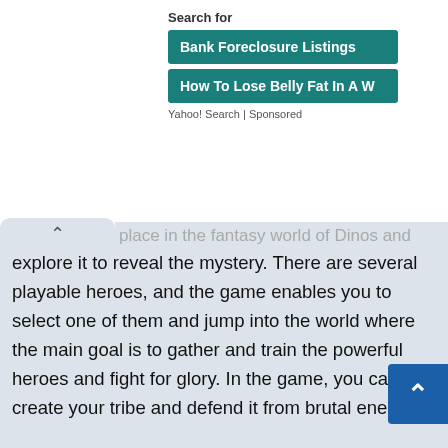Search for
Bank Foreclosure Listings
How To Lose Belly Fat In A W
Yahoo! Search | Sponsored
place in the fantasy world of Dinos and lets you explore it to reveal the mystery. There are several playable heroes, and the game enables you to select one of them and jump into the world where the main goal is to gather and train the powerful heroes and fight for glory. In the game, you can create your tribe and defend it from brutal enemies.
It provides you with a hand-carting strategy, tower defense gameplay and allows you to engage yourself in real-time combat experience. Dino Empire lets y lead your army and take part in various tournaments